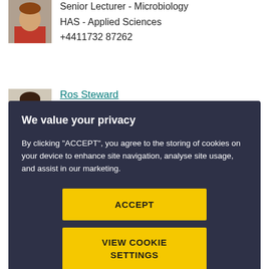[Figure (photo): Photo of male staff member, top-left of page]
Senior Lecturer - Microbiology
HAS - Applied Sciences
+4411732 87262
[Figure (photo): Photo of Ros Steward]
Ros Steward
Senior Lecturer in Education
We value your privacy
By clicking "ACCEPT", you agree to the storing of cookies on your device to enhance site navigation, analyse site usage, and assist in our marketing.
ACCEPT
VIEW COOKIE SETTINGS
[Figure (photo): Photo of female staff member at bottom]
Senior Physiotherapy Lecturer